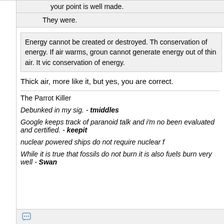your point is well made.
They were.
Energy cannot be created or destroyed. Th conservation of energy. If air warms, groun cannot generate energy out of thin air. It vic conservation of energy.
Thick air, more like it, but yes, you are correct.
The Parrot Killer
Debunked in my sig. - tmiddles
Google keeps track of paranoid talk and i'm no been evaluated and certified. - keepit
nuclear powered ships do not require nuclear f
While it is true that fossils do not burn it is also fuels burn very well - Swan